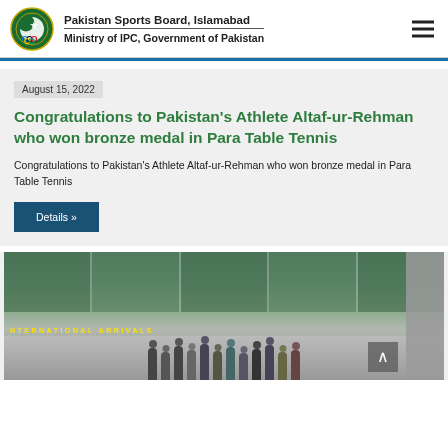Pakistan Sports Board, Islamabad — Ministry of IPC, Government of Pakistan
August 15, 2022
Congratulations to Pakistan's Athlete Altaf-ur-Rehman who won bronze medal in Para Table Tennis
Congratulations to Pakistan's Athlete Altaf-ur-Rehman who won bronze medal in Para Table Tennis
Details »
[Figure (photo): Group photo at International Arrivals terminal, airport. Multiple people standing in front of glass facade with INTERNATIONAL ARRIVALS text visible.]